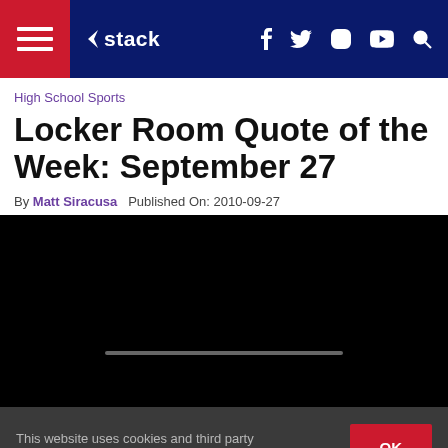stack — navigation bar with hamburger menu, logo, social icons (f, twitter, instagram, youtube), search
High School Sports
Locker Room Quote of the Week: September 27
By Matt Siracusa   Published On: 2010-09-27
[Figure (other): Black video player area with a grey progress bar near the bottom]
This website uses cookies and third party services.